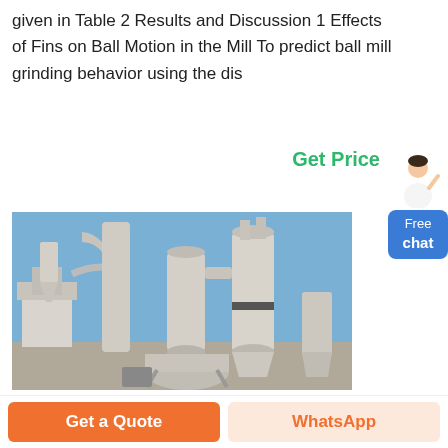given in Table 2 Results and Discussion 1 Effects of Fins on Ball Motion in the Mill To predict ball mill grinding behavior using the dis
Get Price
[Figure (photo): Industrial ball mill grinding equipment outdoors, showing large cylindrical grinding mills, connected pipes and ductwork, cyclone separators, under a clear blue sky.]
Get a Quote
WhatsApp